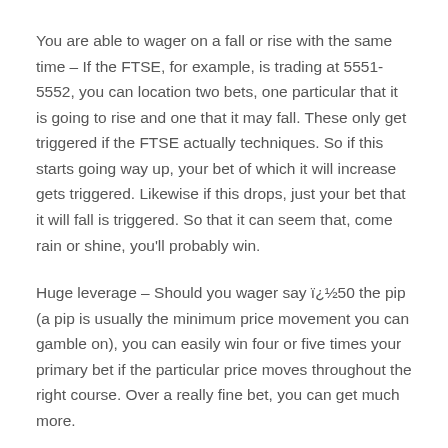You are able to wager on a fall or rise with the same time – If the FTSE, for example, is trading at 5551-5552, you can location two bets, one particular that it is going to rise and one that it may fall. These only get triggered if the FTSE actually techniques. So if this starts going way up, your bet of which it will increase gets triggered. Likewise if this drops, just your bet that it will fall is triggered. So that it can seem that, come rain or shine, you'll probably win.
Huge leverage – Should you wager say ï¿½50 the pip (a pip is usually the minimum price movement you can gamble on), you can easily win four or five times your primary bet if the particular price moves throughout the right course. Over a really fine bet, you can get much more.
You can wait for the best bets – Cont...